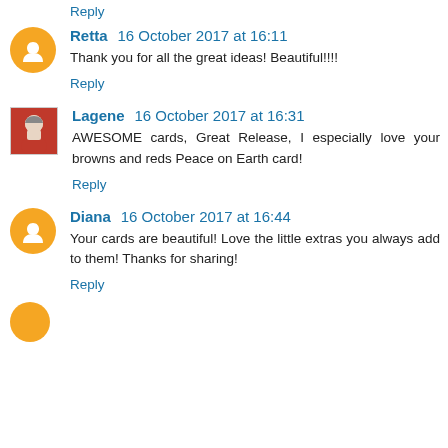Reply
Retta 16 October 2017 at 16:11
Thank you for all the great ideas! Beautiful!!!!
Reply
Lagene 16 October 2017 at 16:31
AWESOME cards, Great Release, I especially love your browns and reds Peace on Earth card!
Reply
Diana 16 October 2017 at 16:44
Your cards are beautiful! Love the little extras you always add to them! Thanks for sharing!
Reply